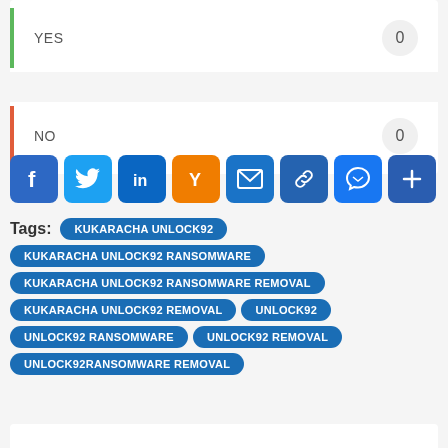YES — 0
NO — 0
[Figure (infographic): Social share icons: Facebook, Twitter, LinkedIn, Yahoo, Email, Link, Messenger, Add]
Tags: KUKARACHA UNLOCK92 | KUKARACHA UNLOCK92 RANSOMWARE | KUKARACHA UNLOCK92 RANSOMWARE REMOVAL | KUKARACHA UNLOCK92 REMOVAL | UNLOCK92 | UNLOCK92 RANSOMWARE | UNLOCK92 REMOVAL | UNLOCK92RANSOMWARE REMOVAL